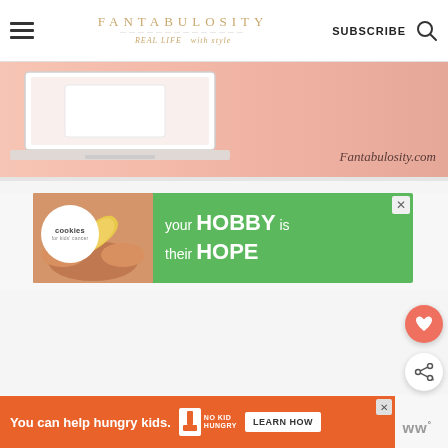Fantabulosity – REAL LIFE with style | SUBSCRIBE
[Figure (screenshot): Pink banner image showing a laptop on a pink background with text 'Fantabulosity.com']
[Figure (infographic): Green advertisement banner for Cookies for Kids' Cancer: 'your HOBBY is their HOPE']
[Figure (infographic): Orange bottom ad bar: 'You can help hungry kids.' with No Kid Hungry logo and LEARN HOW button]
[Figure (other): Floating heart (favorite) and share action buttons on right side]
[Figure (logo): WW logo bottom right]